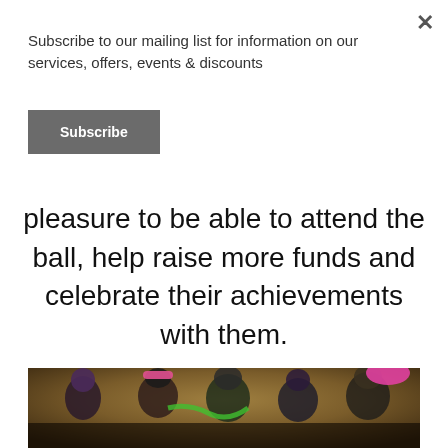Subscribe to our mailing list for information on our services, offers, events & discounts
Subscribe
pleasure to be able to attend the ball, help raise more funds and celebrate their achievements with them.
[Figure (photo): Group of women in a photo booth, wearing colorful costumes and props including pink sequin hat, pink fedora, green feather boa, purple wig, bright glasses, and rainbow accessories, posing and smiling against a mottled brown/gold background.]